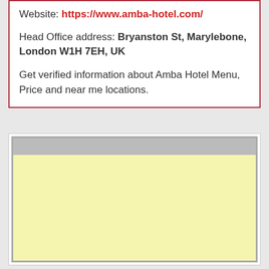Website: https://www.amba-hotel.com/
Head Office address: Bryanston St, Marylebone, London W1H 7EH, UK
Get verified information about Amba Hotel Menu, Price and near me locations.
[Figure (other): Advertisement placeholder block with light yellow background and gray border frame]